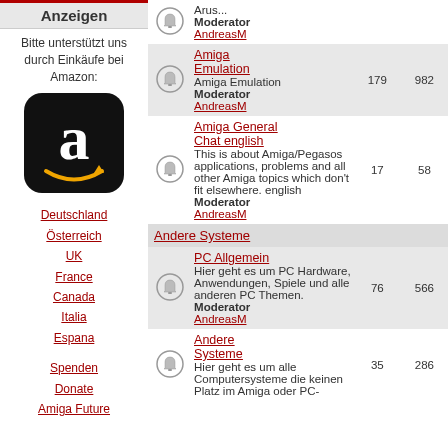Anzeigen
Bitte unterstützt uns durch Einkäufe bei Amazon:
[Figure (logo): Amazon logo - black rounded square with white 'a' and yellow smile arrow]
Deutschland
Österreich
UK
France
Canada
Italia
Espana
Spenden
Donate
Amiga Future
|  |  | Forum Info | Topics | Posts |
| --- | --- | --- | --- | --- |
|  | bell | Arus...
Moderator AndreasM |  |  |
|  | bell | Amiga Emulation
Amiga Emulation
Moderator AndreasM | 179 | 982 |
|  | bell | Amiga General Chat english
This is about Amiga/Pegasos applications, problems and all other Amiga topics which don't fit elsewhere. english
Moderator AndreasM | 17 | 58 |
| Andere Systeme |  |  |  |  |
|  | bell | PC Allgemein
Hier geht es um PC Hardware, Anwendungen, Spiele und alle anderen PC Themen.
Moderator AndreasM | 76 | 566 |
|  | bell | Andere Systeme
Hier geht es um alle Computersysteme die keinen Platz im Amiga oder PC- | 35 | 286 |